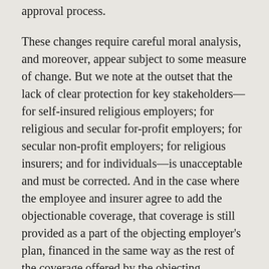approval process.
These changes require careful moral analysis, and moreover, appear subject to some measure of change. But we note at the outset that the lack of clear protection for key stakeholders—for self-insured religious employers; for religious and secular for-profit employers; for secular non-profit employers; for religious insurers; and for individuals—is unacceptable and must be corrected. And in the case where the employee and insurer agree to add the objectionable coverage, that coverage is still provided as a part of the objecting employer's plan, financed in the same way as the rest of the coverage offered by the objecting employer. This, too, raises serious moral concerns.
We just received information about this proposal for the first time this morning, are not yet consulted in